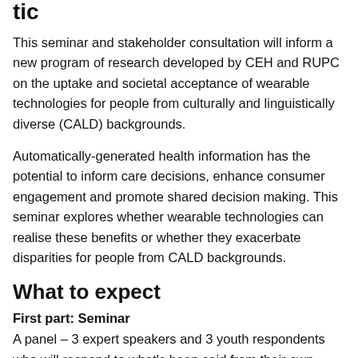tic
This seminar and stakeholder consultation will inform a new program of research developed by CEH and RUPC on the uptake and societal acceptance of wearable technologies for people from culturally and linguistically diverse (CALD) backgrounds.
Automatically-generated health information has the potential to inform care decisions, enhance consumer engagement and promote shared decision making. This seminar explores whether wearable technologies can realise these benefits or whether they exacerbate disparities for people from CALD backgrounds.
What to expect
First part: Seminar
A panel – 3 expert speakers and 3 youth respondents who will respond to what's been said from their own unique perspective.